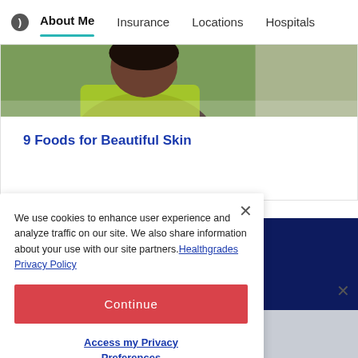About Me | Insurance | Locations | Hospitals
[Figure (photo): Close-up photo of a person outdoors wearing a yellow-green top, background with greenery]
9 Foods for Beautiful Skin
We use cookies to enhance user experience and analyze traffic on our site. We also share information about your use with our site partners. Healthgrades Privacy Policy
Continue
Access my Privacy Preferences